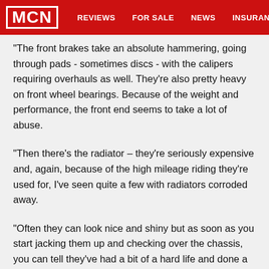MCN | REVIEWS | FOR SALE | NEWS | INSURANCE
"The front brakes take an absolute hammering, going through pads - sometimes discs - with the calipers requiring overhauls as well. They're also pretty heavy on front wheel bearings. Because of the weight and performance, the front end seems to take a lot of abuse.
"Then there's the radiator – they're seriously expensive and, again, because of the high mileage riding they're used for, I've seen quite a few with radiators corroded away.
"Often they can look nice and shiny but as soon as you start jacking them up and checking over the chassis, you can tell they've had a bit of a hard life and done a good few miles. Look for wear and tear on the brakes and so on. You need to be careful and have a good look underneath the fairing, too.
"The engines are really strong, though. But then they're so powerful. I guess they don't get revved that hard! From a